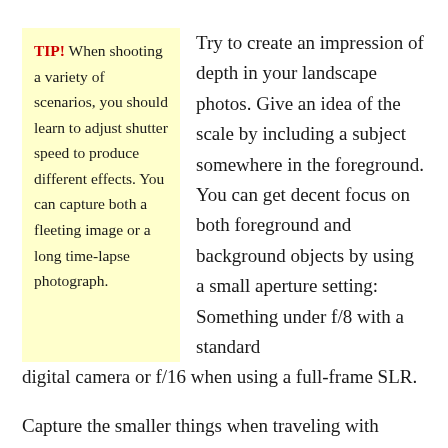TIP! When shooting a variety of scenarios, you should learn to adjust shutter speed to produce different effects. You can capture both a fleeting image or a long time-lapse photograph.
Try to create an impression of depth in your landscape photos. Give an idea of the scale by including a subject somewhere in the foreground. You can get decent focus on both foreground and background objects by using a small aperture setting: Something under f/8 with a standard digital camera or f/16 when using a full-frame SLR.
Capture the smaller things when traveling with